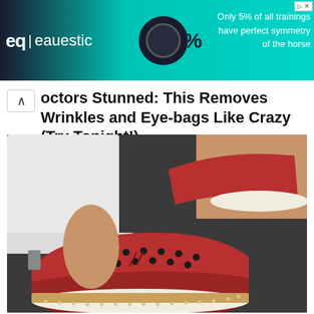[Figure (other): Advertisement banner for Equestic showing logo, '5%' text with arrows, a black circular headphone/earbud product, and text 'Only 5% of all trainings have perfect symmetry of the horse' on a teal/dark background]
Doctors Stunned: This Removes Wrinkles and Eye-bags Like Crazy (Try Tonight!)
Trending Stories
[Figure (photo): Close-up photo of two feet wearing red suede perforated slip-on sneakers with white rope-stitched soles and tassel laces, worn with white cropped pants, photographed on a dark surface]